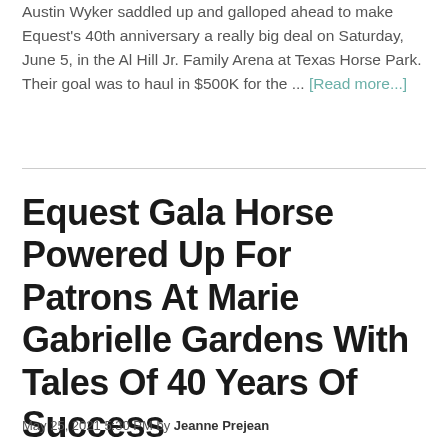Austin Wyker saddled up and galloped ahead to make Equest's 40th anniversary a really big deal on Saturday, June 5, in the Al Hill Jr. Family Arena at Texas Horse Park. Their goal was to haul in $500K for the ... [Read more...]
Equest Gala Horse Powered Up For Patrons At Marie Gabrielle Gardens With Tales Of 40 Years Of Success
May 25, 2021 5:30 PM by Jeanne Prejean